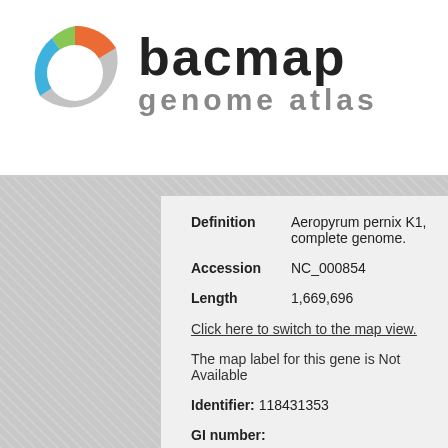[Figure (logo): BACmap Genome Atlas logo with circular icon in orange, green, and blue, and bold text 'bacmap' with subtitle 'genome atlas' in gray]
Definition   Aeropyrum pernix K1, complete genome.
Accession   NC_000854
Length   1,669,696
Click here to switch to the map view.
The map label for this gene is Not Available
Identifier: 118431353
GI number:
Start: 739270
End: 740559